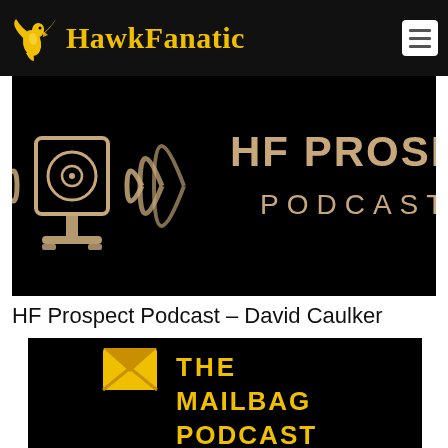[Figure (logo): HawkFanatic website header with golden hawk logo and yellow text 'HawkFanatic' on black background, with menu icon top right]
[Figure (logo): HF Prospect Podcast logo: microphone/speaker icon with radio waves on black background, text 'HF PROSPECT PODCAST' in golden/tan color]
HF Prospect Podcast – David Caulker
[Figure (logo): The Mailbag Podcast logo: yellow envelope icon with X mark on black background, yellow text 'THE MAILBAG PODCAST']